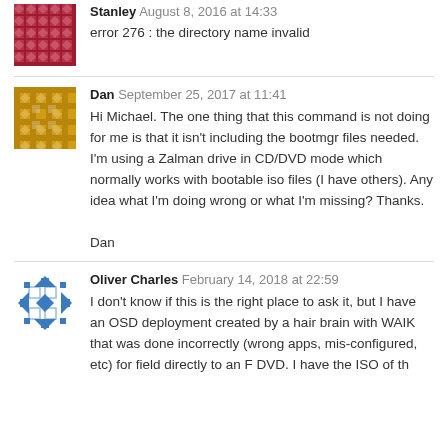[Figure (illustration): Red/maroon geometric pattern avatar for user Stanley]
Stanley  August 8, 2016 at 14:33
error 276 : the directory name invalid
[Figure (illustration): Gold/yellow geometric pattern avatar for user Dan]
Dan  September 25, 2017 at 11:41
Hi Michael. The one thing that this command is not doing for me is that it isn't including the bootmgr files needed. I'm using a Zalman drive in CD/DVD mode which normally works with bootable iso files (I have others). Any idea what I'm doing wrong or what I'm missing? Thanks.

Dan
[Figure (illustration): Blue geometric pattern avatar for user Oliver Charles]
Oliver Charles  February 14, 2018 at 22:59
I don't know if this is the right place to ask it, but I have an OSD deployment created by a hair brain with WAIK that was done incorrectly (wrong apps, mis-configured, etc) for field directly to an F DVD. I have the ISO of th